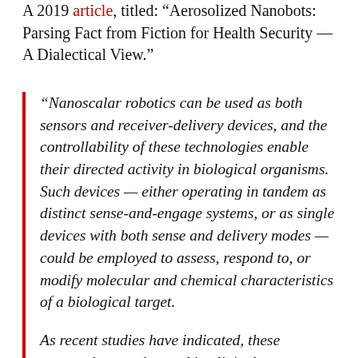A 2019 article, titled: "Aerosolized Nanobots: Parsing Fact from Fiction for Health Security — A Dialectical View."
"Nanoscalar robotics can be used as both sensors and receiver-delivery devices, and the controllability of these technologies enable their directed activity in biological organisms. Such devices — either operating in tandem as distinct sense-and-engage systems, or as single devices with both sense and delivery modes — could be employed to assess, respond to, or modify molecular and chemical characteristics of a biological target.

As recent studies have indicated, these approaches can be used in clinical care to more precisely monitor tissue, organ, and overall bodily states and to alter the structure and function of biological tissues and systems at a variety of scales, from the subcellular to the systemic and"